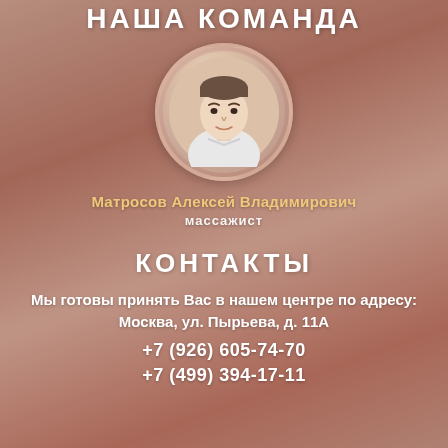НАША КОМАНДА
[Figure (photo): Circular portrait photo of Матросов Алексей Владимирович, massage therapist, wearing white medical uniform]
Матросов Алексей Владимирович
массажист
КОНТАКТЫ
Мы готовы принять Вас в нашем центре по адресу: Москва, ул. Пырьева, д. 11А
+7 (926) 605-74-70
+7 (499) 394-17-11